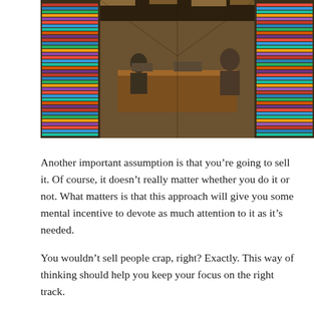[Figure (photo): Interior of a crowded shop or store filled with stacks of books, CDs, or media items piled high on shelves on both sides, with a wooden counter/desk in the center and people visible in the background.]
Another important assumption is that you're going to sell it. Of course, it doesn't really matter whether you do it or not. What matters is that this approach will give you some mental incentive to devote as much attention to it as it's needed.
You wouldn't sell people crap, right? Exactly. This way of thinking should help you keep your focus on the right track.
Another self-evident advantage of this rationale is actually creating something of value. You might be